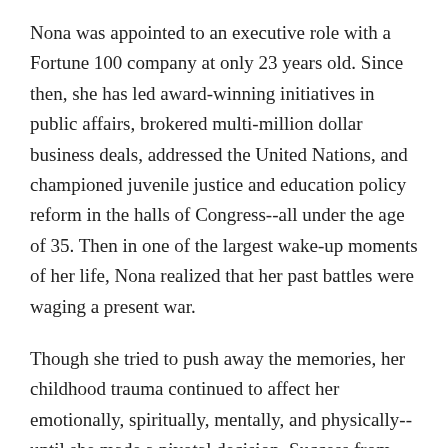Nona was appointed to an executive role with a Fortune 100 company at only 23 years old. Since then, she has led award-winning initiatives in public affairs, brokered multi-million dollar business deals, addressed the United Nations, and championed juvenile justice and education policy reform in the halls of Congress--all under the age of 35. Then in one of the largest wake-up moments of her life, Nona realized that her past battles were waging a present war.
Though she tried to push away the memories, her childhood trauma continued to affect her emotionally, spiritually, mentally, and physically--until she made a pivotal decision. Success from the Inside Out charts the course of Nona's breakthrough--a course that can also lead you out of the storms of your past or present. Through her own remarkable story and insights, Nona helps you: Claim victory at the place